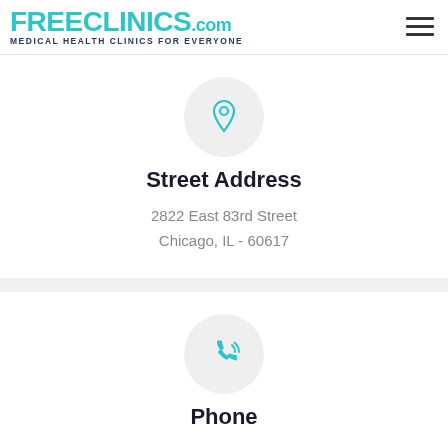FREE CLINICS.COM — Medical Health Clinics For Everyone
[Figure (logo): FreeClinics.com logo with teal text and tagline 'Medical Health Clinics For Everyone']
Street Address
2822 East 83rd Street
Chicago, IL - 60617
Phone